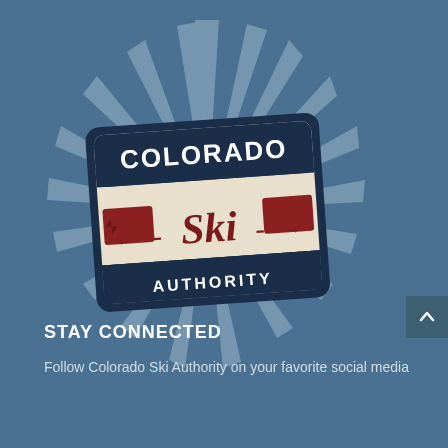[Figure (logo): Colorado Ski Authority logo — a retro-style road sign shape with dark navy blue border and cream background. Top dark band reads 'COLORADO' in white uppercase letters. Middle cream area shows '←Ski→' in dark red/maroon italic text with arrow signs on each side. Bottom dark band reads 'AUTHORITY' in white uppercase letters. The logo has a sunburst/starburst ray pattern in muted teal/blue behind it.]
STAY CONNECTED
Follow Colorado Ski Authority on your favorite social media